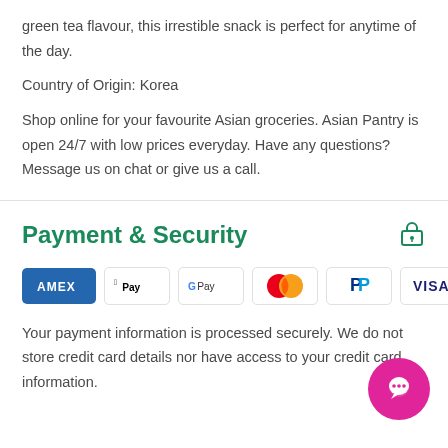green tea flavour, this irrestible snack is perfect for anytime of the day.
Country of Origin: Korea
Shop online for your favourite Asian groceries. Asian Pantry is open 24/7 with low prices everyday. Have any questions? Message us on chat or give us a call.
Payment & Security
[Figure (infographic): Payment method icons: American Express, Apple Pay, Google Pay, Mastercard, PayPal, Visa]
Your payment information is processed securely. We do not store credit card details nor have access to your credit card information.